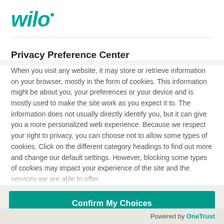[Figure (logo): Wilo company logo in teal italic bold font with a dot above the 'i']
Privacy Preference Center
When you visit any website, it may store or retrieve information on your browser, mostly in the form of cookies. This information might be about you, your preferences or your device and is mostly used to make the site work as you expect it to. The information does not usually directly identify you, but it can give you a more personalized web experience. Because we respect your right to privacy, you can choose not to allow some types of cookies. Click on the different category headings to find out more and change our default settings. However, blocking some types of cookies may impact your experience of the site and the services we are able to offer.
Confirm My Choices
Allow All
Powered by OneTrust